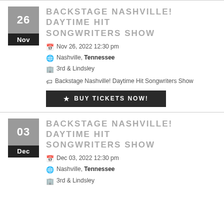BACKSTAGE NASHVILLE! DAYTIME HIT SONGWRITERS SHOW
Nov 26, 2022 12:30 pm
Nashville, Tennessee
3rd & Lindsley
Backstage Nashville! Daytime Hit Songwriters Show
BUY TICKETS NOW!
BACKSTAGE NASHVILLE! DAYTIME HIT SONGWRITERS SHOW
Dec 03, 2022 12:30 pm
Nashville, Tennessee
3rd & Lindsley